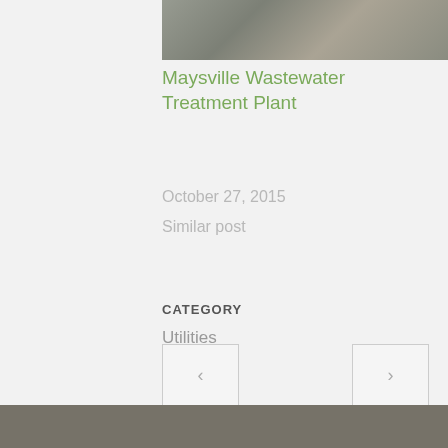[Figure (photo): Aerial or overhead photo of Maysville Wastewater Treatment Plant facility]
Maysville Wastewater Treatment Plant
October 27, 2015
Similar post
CATEGORY
Utilities
CONTACT US